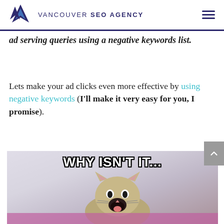VANCOUVER SEO AGENCY
ad serving queries using a negative keywords list.
Lets make your ad clicks even more effective by using negative keywords (I'll make it very easy for you, I promise).
[Figure (photo): Meme image of a yawning cat with text 'WHY ISN'T IT...' in bold white outlined font]